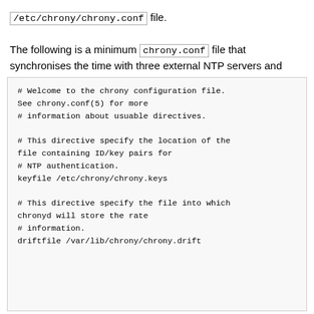/etc/chrony/chrony.conf file. The following is a minimum chrony.conf file that synchronises the time with three external NTP servers and enables clients to query the time using signed NTP requests:
# Welcome to the chrony configuration file. See chrony.conf(5) for more
# information about usuable directives.

# This directive specify the location of the file containing ID/key pairs for
# NTP authentication.
keyfile /etc/chrony/chrony.keys

# This directive specify the file into which chronyd will store the rate
# information.
driftfile /var/lib/chrony/chrony.drift